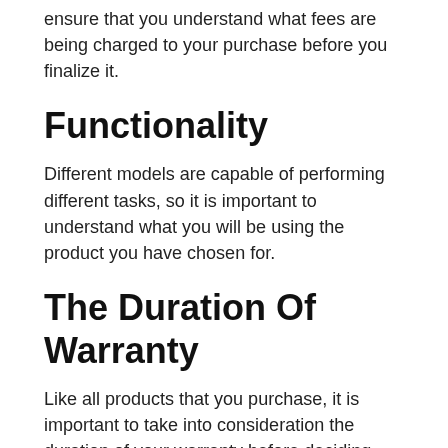ensure that you understand what fees are being charged to your purchase before you finalize it.
Functionality
Different models are capable of performing different tasks, so it is important to understand what you will be using the product you have chosen for.
The Duration Of Warranty
Like all products that you purchase, it is important to take into consideration the duration of your warranty before deciding